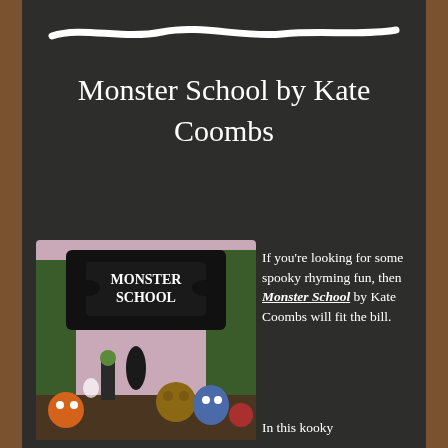[Figure (illustration): White chalk-like wavy line drawn across dark chalkboard background]
Monster School by Kate Coombs
[Figure (illustration): Book cover of Monster School by Kate Coombs showing cartoon monsters gathered under a decorative Monster School sign with trees in the background]
If you're looking for some spooky rhyming fun, then Monster School by Kate Coombs will fit the bill.
In this kooky